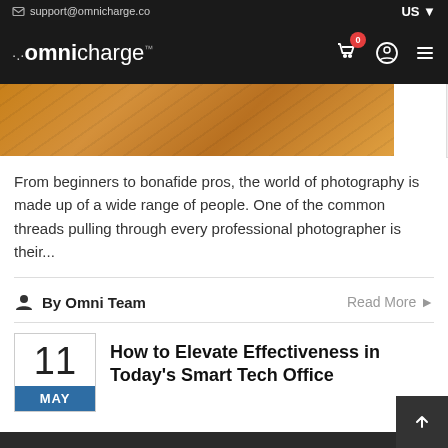support@omnicharge.co  US
omnicharge™
[Figure (photo): Partial view of a wooden surface photo strip at top of blog listing]
From beginners to bonafide pros, the world of photography is made up of a wide range of people. One of the common threads pulling through every professional photographer is their...
By Omni Team   Read More ▶
How to Elevate Effectiveness in Today's Smart Tech Office